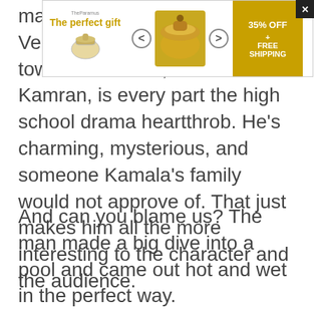[Figure (other): Advertisement banner: 'The perfect gift' with 35% OFF + FREE SHIPPING, showing a soup pot/tureen image with navigation arrows and a close button]
main... Vella... in town. The senior, named Kamran, is every part the high school drama heartthrob. He's charming, mysterious, and someone Kamala's family would not approve of. That just makes him all the more interesting to the character and the audience.
And can you blame us? The man made a big dive into a pool and came out hot and wet in the perfect way.